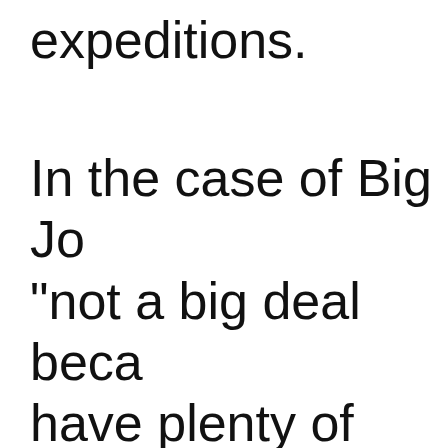expeditions.
In the case of Big Jo "not a big deal beca have plenty of tricer palaeontologist Pas the Belgian Royal In Natural Sciences to